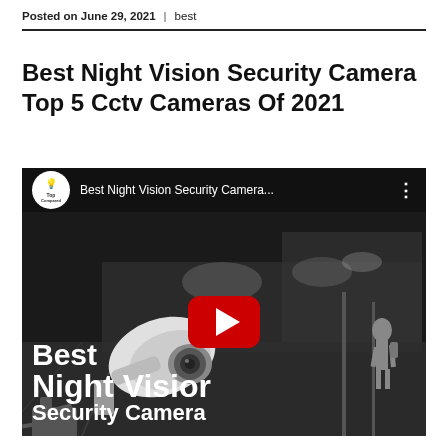Posted on June 29, 2021 | best
Best Night Vision Security Camera Top 5 Cctv Cameras Of 2021
[Figure (screenshot): YouTube video thumbnail showing a night vision security camera mounted on a wall, with a black-and-white street scene in the background showing a pedestrian. The video title bar at the top reads 'Best Night Vision Security Camera...' with the Top Compared channel logo. A red YouTube play button is centered over the image. White text overlaid at the bottom reads 'Best Night Vision Security Camera'.]